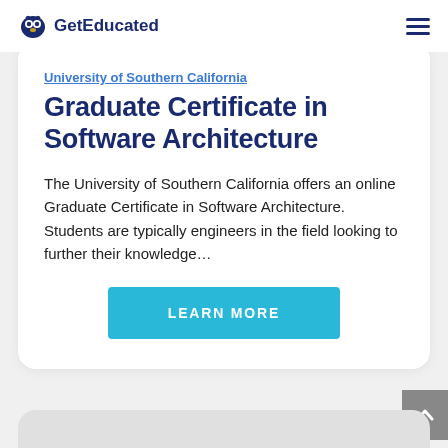GetEducated
Graduate Certificate in Software Architecture
The University of Southern California offers an online Graduate Certificate in Software Architecture. Students are typically engineers in the field looking to further their knowledge…
LEARN MORE